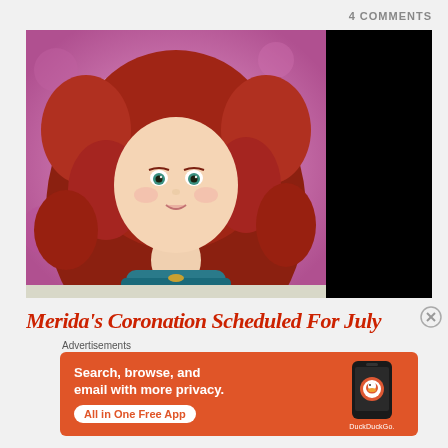4 COMMENTS
[Figure (photo): Illustration/artwork of Disney's Merida character from Brave with voluminous red curly hair, teal dress, against a pink floral background. Right portion of image is black.]
Merida's Coronation Scheduled For July
Advertisements
[Figure (screenshot): DuckDuckGo advertisement banner on orange background. Text reads: Search, browse, and email with more privacy. All in One Free App. Shows a phone with DuckDuckGo logo.]